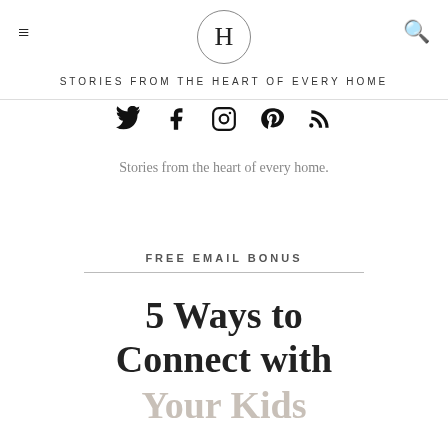H — STORIES FROM THE HEART OF EVERY HOME
[Figure (other): Social media icons: Twitter, Facebook, Instagram, Pinterest, RSS feed]
Stories from the heart of every home.
FREE EMAIL BONUS
5 Ways to Connect with Your Kids